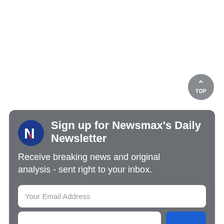[Figure (logo): Newsmax 'N' logo in blue circle]
Sign up for Newsmax's Daily Newsletter
Receive breaking news and original analysis - sent right to your inbox.
Your Email Address
[Figure (other): TOP scroll-to-top button with upward chevron arrow]